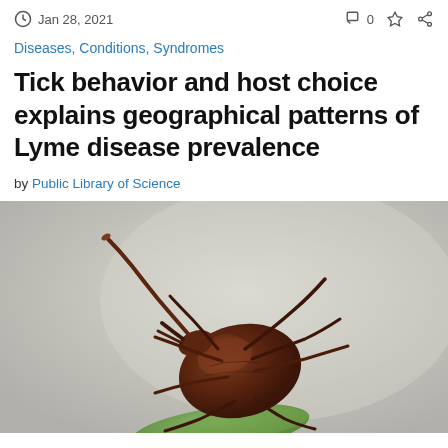Jan 28, 2021   0
Diseases, Conditions, Syndromes
Tick behavior and host choice explains geographical patterns of Lyme disease prevalence
by Public Library of Science
[Figure (photo): Close-up macro photograph of a tick (arachnid) on a green leaf against a light grey/beige background. The tick is dark brown/reddish-brown with visible legs and mouthparts.]